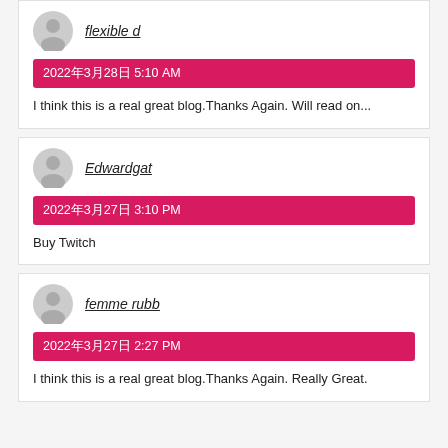flexible d
2022年3月28日 5:10 AM
I think this is a real great blog.Thanks Again. Will read on...
Edwardgat
2022年3月27日 3:10 PM
Buy Twitch
femme rubb
2022年3月27日 2:27 PM
I think this is a real great blog.Thanks Again. Really Great.